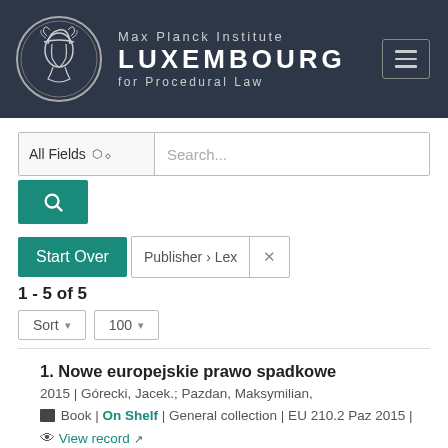[Figure (logo): Max Planck Institute Luxembourg for Procedural Law header with circular Minerva logo on dark background]
[Figure (screenshot): Search bar with 'All Fields' dropdown and 'Search...' placeholder text, and a teal search button below]
Start Over | Publisher › Lex ×
1 - 5 of 5
Sort ▾  100 ▾
1. Nowe europejskie prawo spadkowe
2015 | Górecki, Jacek.; Pazdan, Maksymilian,
Book | On Shelf | General collection | EU 210.2 Paz 2015 | View record